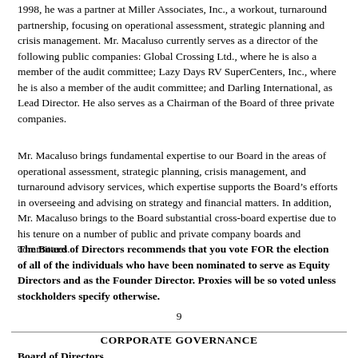1998, he was a partner at Miller Associates, Inc., a workout, turnaround partnership, focusing on operational assessment, strategic planning and crisis management. Mr. Macaluso currently serves as a director of the following public companies: Global Crossing Ltd., where he is also a member of the audit committee; Lazy Days RV SuperCenters, Inc., where he is also a member of the audit committee; and Darling International, as Lead Director. He also serves as a Chairman of the Board of three private companies.
Mr. Macaluso brings fundamental expertise to our Board in the areas of operational assessment, strategic planning, crisis management, and turnaround advisory services, which expertise supports the Board's efforts in overseeing and advising on strategy and financial matters. In addition, Mr. Macaluso brings to the Board substantial cross-board expertise due to his tenure on a number of public and private company boards and committees.
The Board of Directors recommends that you vote FOR the election of all of the individuals who have been nominated to serve as Equity Directors and as the Founder Director. Proxies will be so voted unless stockholders specify otherwise.
9
CORPORATE GOVERNANCE
Board of Directors